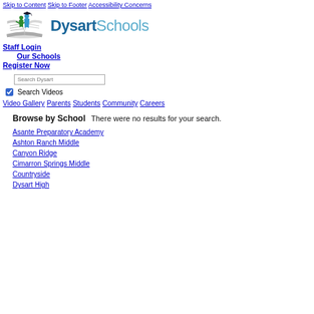Skip to Content  Skip to Footer  Accessibility Concerns
[Figure (logo): Dysart Schools logo with graduation cap figure and open book, with text 'Dysart Schools']
Staff Login
Our Schools
Register Now
Search Dysart (search input field)
Search Videos (checkbox)
Video Gallery  Parents  Students  Community  Careers
Browse by School
There were no results for your search.
Asante Preparatory Academy
Ashton Ranch Middle
Canyon Ridge
Cimarron Springs Middle
Countryside
Dysart High